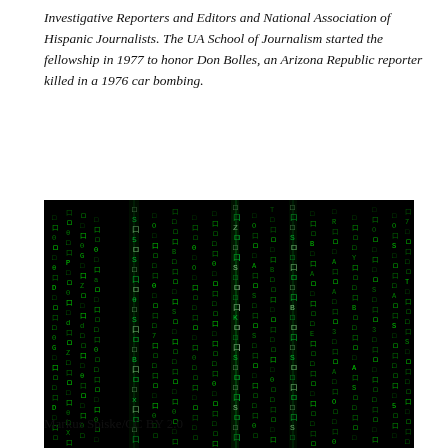Investigative Reporters and Editors and National Association of Hispanic Journalists. The UA School of Journalism started the fellowship in 1977 to honor Don Bolles, an Arizona Republic reporter killed in a 1976 car bombing.
[Figure (photo): Dark background with falling green matrix-style characters and symbols resembling a digital rain effect]
Markus Spiske/CC BY 2.0